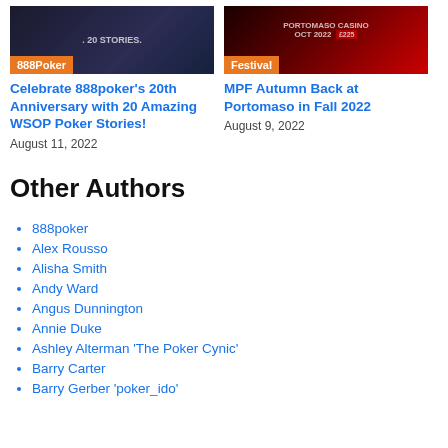[Figure (photo): 888Poker article thumbnail with orange badge label '888Poker' and dark background showing '20 STORIES.' text]
[Figure (photo): Festival article thumbnail with orange badge label 'Festival' and red casino background showing 'PORTOMASO CASINO OCT 2022' text]
Celebrate 888poker's 20th Anniversary with 20 Amazing WSOP Poker Stories!
August 11, 2022
MPF Autumn Back at Portomaso in Fall 2022
August 9, 2022
Other Authors
888poker
Alex Rousso
Alisha Smith
Andy Ward
Angus Dunnington
Annie Duke
Ashley Alterman 'The Poker Cynic'
Barry Carter
Barry Gerber 'poker_ido'